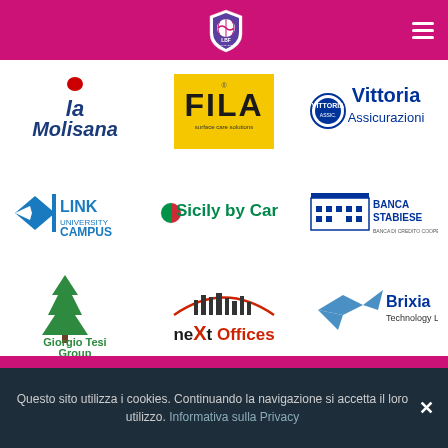LBF Logo navigation header
[Figure (logo): La Molisana logo - Italian pasta brand in cursive blue script]
[Figure (logo): FILA logo - yellow background with FILA text and surface care solutions subtitle]
[Figure (logo): Vittoria Assicurazioni logo - circular emblem with company name]
[Figure (logo): Link Campus University logo - blue arrow/fish shape with university name]
[Figure (logo): Sicily by Car logo - green text with Italian flag icon]
[Figure (logo): Banca Stabiese logo - building illustration with bank name]
[Figure (logo): Giorgio Tesi Group - The Future is Green logo with tree]
[Figure (logo): neXt Offices logo - red and dark text with city skyline]
[Figure (logo): Brixia Technology Led logo - blue bird/dove with company name]
Questo sito utilizza i cookies. Continuando la navigazione si accetta il loro utilizzo. Informativa sulla Privacy